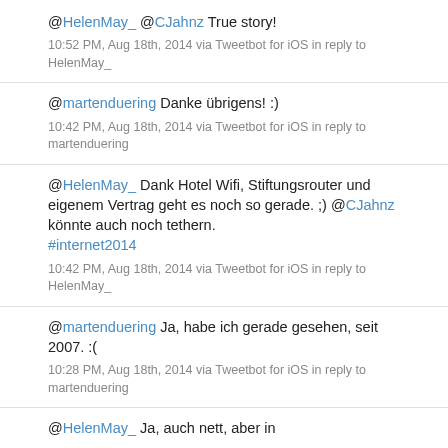@HelenMay_ @CJahnz True story!
10:52 PM, Aug 18th, 2014 via Tweetbot for iOS in reply to HelenMay_
@martenduering Danke übrigens! :)
10:42 PM, Aug 18th, 2014 via Tweetbot for iOS in reply to martenduering
@HelenMay_ Dank Hotel Wifi, Stiftungsrouter und eigenem Vertrag geht es noch so gerade. ;) @CJahnz könnte auch noch tethern. #internet2014
10:42 PM, Aug 18th, 2014 via Tweetbot for iOS in reply to HelenMay_
@martenduering Ja, habe ich gerade gesehen, seit 2007. :(
10:28 PM, Aug 18th, 2014 via Tweetbot for iOS in reply to martenduering
@HelenMay_ Ja, auch nett, aber in